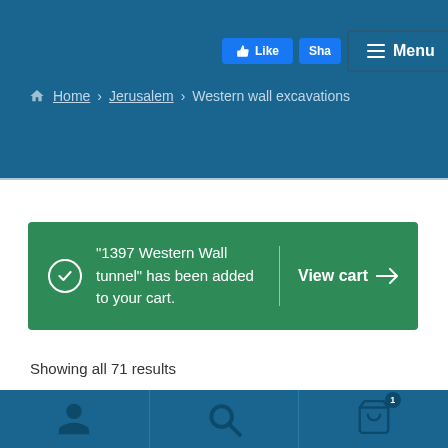Like | Share | Menu
Home › Jerusalem › Western wall excavations
“1397 Western Wall tunnel” has been added to your cart.  View cart →
Showing all 71 results
[Figure (screenshot): Bottom navigation bar with user icon, search icon, and cart icon with badge showing 1]